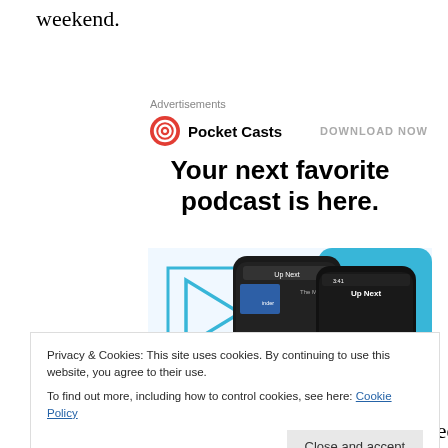weekend.
Advertisements
[Figure (logo): Pocket Casts logo with red circular icon and text 'Pocket Casts', and 'DOWNLOAD NOW' link on the right]
Your next favorite podcast is here.
[Figure (screenshot): Pocket Casts app screenshot showing two phone screens with 'Up Next' queue interface on dark background with blue geometric shapes]
Privacy & Cookies: This site uses cookies. By continuing to use this website, you agree to their use.
To find out more, including how to control cookies, see here: Cookie Policy
Close and accept
an expert on Shakespeare. He is simply referred to as